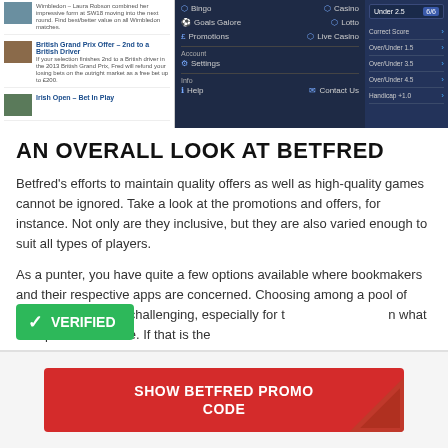[Figure (screenshot): Betfred app/website screenshot showing navigation menu with Bingo, Casino, Goals Galore, Lotto, Promotions, Live Casino, Account section with Settings, Info with Help and Contact Us on dark background; right panel shows Under 2.5 market with Correct Score, Over/Under 1.5, Over/Under 3.5, Over/Under 4.5, Handicap +1.0 options; left panel shows promotional offers including British Grand Prix Offer and Irish Open]
AN OVERALL LOOK AT BETFRED
Betfred's efforts to maintain quality offers as well as high-quality games cannot be ignored. Take a look at the promotions and offers, for instance. Not only are they inclusive, but they are also varied enough to suit all types of players.
As a punter, you have quite a few options available where bookmakers and their respective apps are concerned. Choosing among a pool of bookies may prove challenging, especially for those depending on what their preferences are. If that is the
[Figure (infographic): Green VERIFIED badge with checkmark]
[Figure (infographic): Red button: SHOW BETFRED PROMO CODE with decorative triangle corner]